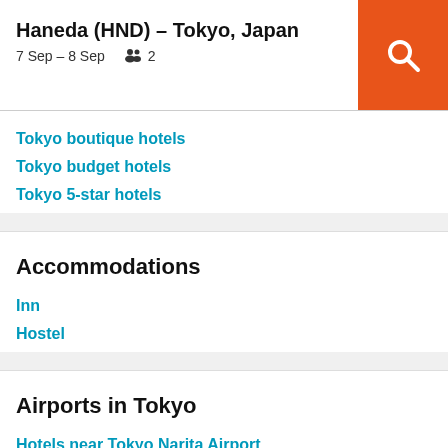Haneda (HND) – Tokyo, Japan
7 Sep – 8 Sep   👥  2
Tokyo boutique hotels
Tokyo budget hotels
Tokyo 5-star hotels
Accommodations
Inn
Hostel
Airports in Tokyo
Hotels near Tokyo Narita Airport
Hotels near Tokyo Haneda airport